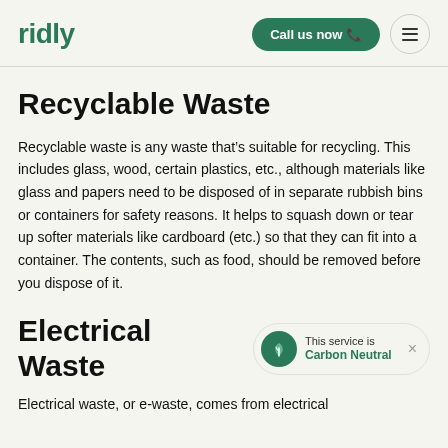ridly | Call us now | menu
Recyclable Waste
Recyclable waste is any waste that’s suitable for recycling. This includes glass, wood, certain plastics, etc., although materials like glass and papers need to be disposed of in separate rubbish bins or containers for safety reasons. It helps to squash down or tear up softer materials like cardboard (etc.) so that they can fit into a container. The contents, such as food, should be removed before you dispose of it.
Electrical Waste
[Figure (infographic): Carbon neutral badge: green circle with leaf icon, text 'This service is Carbon Neutral', close X button]
Electrical waste, or e-waste, comes from electrical